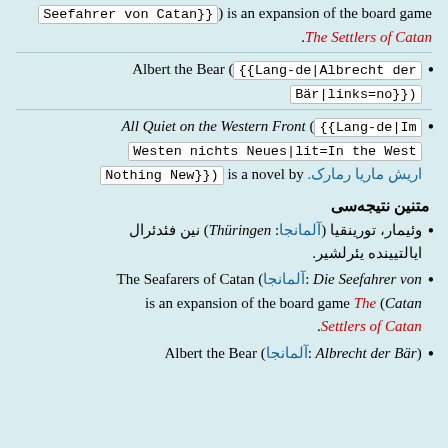Seefahrer von Catan}}) is an expansion of the board game The Settlers of Catan.
Albert the Bear ({{Lang-de|Albrecht der Bär|links=no}})
All Quiet on the Western Front ({{Lang-de|Im Westen nichts Neues|lit=In the West Nothing New}}) is a novel by اریش ماریا رمارک.
متنین نتیجه‌سی
وئیمار، تورینقیا (آلمانجا: Thüringen) نین فئدئرال ایالتیینده یئرلشیر.
Die Seefahrer von :آلمانجا) The Seafarers of Catan is an expansion of the board game The (Catan Settlers of Catan).
(Albrecht der Bär :آلمانجا) Albert the Bear